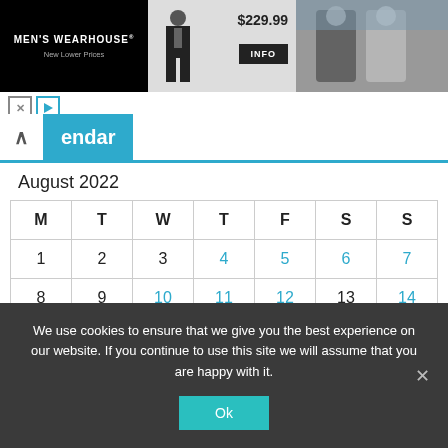[Figure (screenshot): Men's Wearhouse advertisement banner showing a suit for $229.99 with an INFO button and a couple in formal wear]
[Figure (screenshot): Navigation bar with up arrow and 'endar' tab in teal (partial word 'Calendar')]
August 2022
| M | T | W | T | F | S | S |
| --- | --- | --- | --- | --- | --- | --- |
| 1 | 2 | 3 | 4 | 5 | 6 | 7 |
| 8 | 9 | 10 | 11 | 12 | 13 | 14 |
| 15 | 16 | 17 | 18 | 19 | 20 | 21 |
| 22 | 23 | 24 | 25 | 26 | 27 | 28 |
We use cookies to ensure that we give you the best experience on our website. If you continue to use this site we will assume that you are happy with it.
Ok